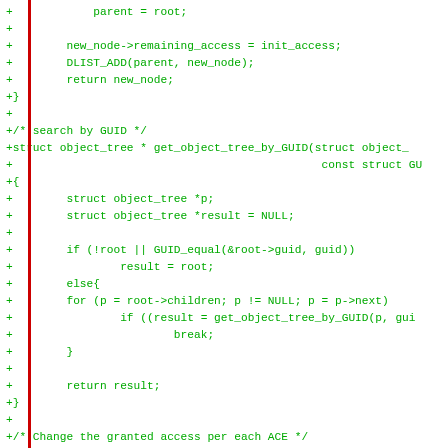[Figure (screenshot): Code diff screenshot showing C source code additions (green lines with + prefix) on white background with red vertical bar on left margin. Code includes functions for object tree manipulation: remaining_access assignment, DLIST_ADD, return statements, get_object_tree_by_GUID function, and object_tree_modify_access function.]